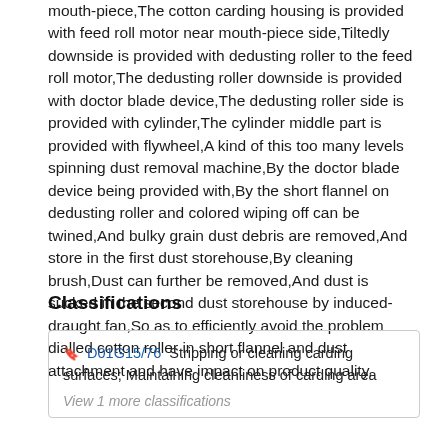mouth-piece,The cotton carding housing is provided with feed roll motor near mouth-piece side,Tiltedly downside is provided with dedusting roller to the feed roll motor,The dedusting roller downside is provided with doctor blade device,The dedusting roller side is provided with cylinder,The cylinder middle part is provided with flywheel,A kind of this too many levels spinning dust removal machine,By the doctor blade device being provided with,By the short flannel on dedusting roller and colored wiping off can be twined,And bulky grain dust debris are removed,And store in the first dust storehouse,By cleaning brush,Dust can further be removed,And dust is sucked in the second dust storehouse by induced-draught fan,So as to efficiently avoid the problem dialled cotton roller in short flannel and dust attachment and have impact on product quality.
Classifications
D01G15/76  Stripping or cleaning carding surfaces; Maintaining cleanliness of carding area
View 1 more classifications